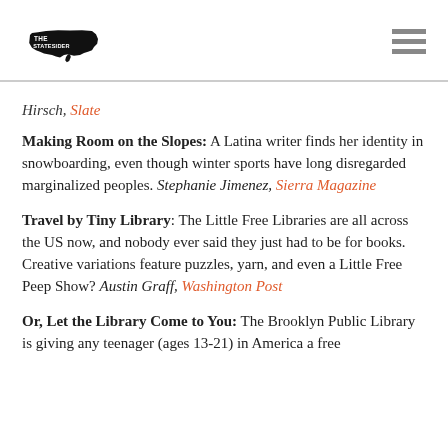The Statesider [logo]
Hirsch, Slate
Making Room on the Slopes: A Latina writer finds her identity in snowboarding, even though winter sports have long disregarded marginalized peoples. Stephanie Jimenez, Sierra Magazine
Travel by Tiny Library: The Little Free Libraries are all across the US now, and nobody ever said they just had to be for books. Creative variations feature puzzles, yarn, and even a Little Free Peep Show? Austin Graff, Washington Post
Or, Let the Library Come to You: The Brooklyn Public Library is giving any teenager (ages 13-21) in America a free